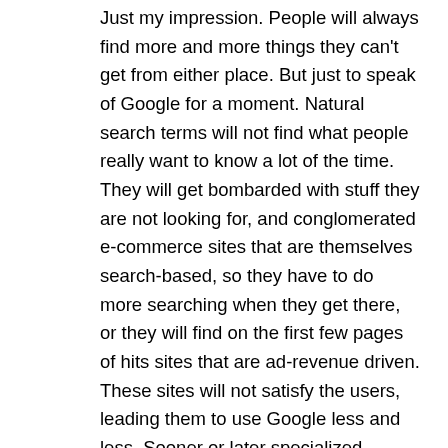Just my impression. People will always find more and more things they can't get from either place. But just to speak of Google for a moment. Natural search terms will not find what people really want to know a lot of the time. They will get bombarded with stuff they are not looking for, and conglomerated e-commerce sites that are themselves search-based, so they have to do more searching when they get there, or they will find on the first few pages of hits sites that are ad-revenue driven. These sites will not satisfy the users, leading them to use Google less and less. Sooner or later specialized search engines and more or less non-profit advocacy sites will generate the traffic. Google's model of money-driven search will recede and Google's revenue will not be able to keep up with the ambitious projects. As for Facebook, since I just mentioned it, I will say that it is too strict and limiting to keep up with the expansion of the internet communications medium.